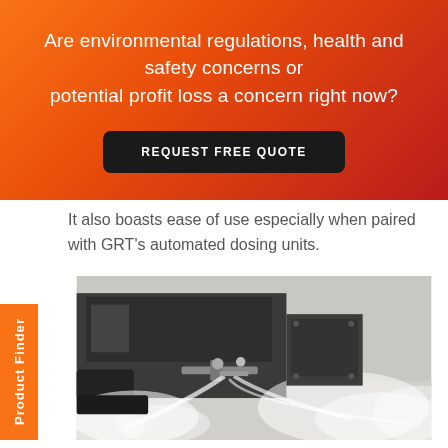Are environmental regulations, health and safety concerns or potential profit loss a concern right now?
REQUEST FREE QUOTE
It also boasts ease of use especially when paired with GRT's automated dosing units.
[Figure (photo): Industrial vehicle or machinery spraying water or dust suppression liquid, creating mist/spray near ground level, photographed close-up.]
Product Finder